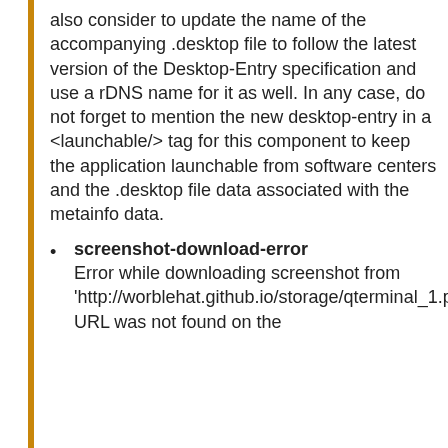also consider to update the name of the accompanying .desktop file to follow the latest version of the Desktop-Entry specification and use a rDNS name for it as well. In any case, do not forget to mention the new desktop-entry in a <launchable/> tag for this component to keep the application launchable from software centers and the .desktop file data associated with the metainfo data.
screenshot-download-error
Error while downloading screenshot from 'http://worblehat.github.io/storage/qterminal_1.png': URL was not found on the